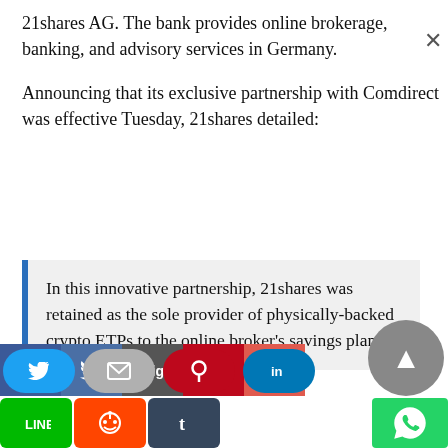21shares AG. The bank provides online brokerage, banking, and advisory services in Germany.
Announcing that its exclusive partnership with Comdirect was effective Tuesday, 21shares detailed:
In this innovative partnership, 21shares was retained as the sole provider of physically-backed crypto ETPs to the online broker's savings plan